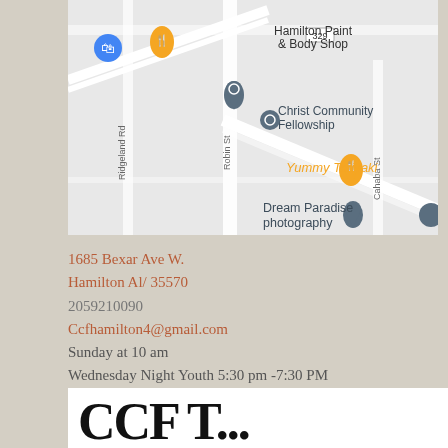[Figure (map): Google Maps screenshot showing the area around 1685 Bexar Ave W, Hamilton, AL. Visible landmarks include Hamilton Paint & Body Shop, Christ Community Fellowship, Yummy Teriyaki, Dream Paradise photography, and street labels Ridgeland Rd, Robin St, Cahaba St.]
1685 Bexar Ave W.
Hamilton Al/ 35570
2059210090
Ccfhamilton4@gmail.com
Sunday at 10 am
Wednesday Night Youth 5:30 pm -7:30 PM
See small group page for hours